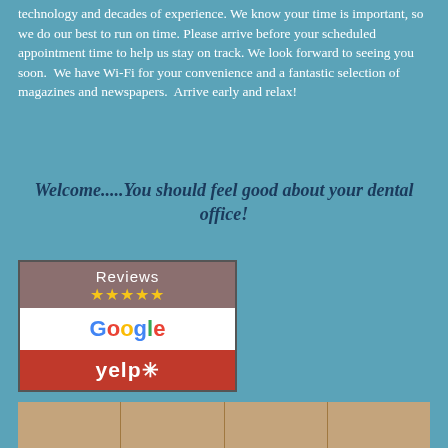technology and decades of experience. We know your time is important, so we do our best to run on time. Please arrive before your scheduled appointment time to help us stay on track. We look forward to seeing you soon.  We have Wi-Fi for your convenience and a fantastic selection of magazines and newspapers.  Arrive early and relax!
Welcome.....You should feel good about your dental office!
[Figure (other): Reviews widget showing five gold stars with 'Reviews' text on a brownish-mauve background, Google logo on white background, and Yelp logo on red background]
[Figure (photo): Bottom strip showing partial view of dental office interior]